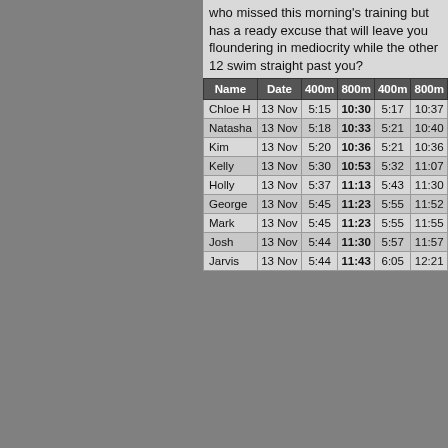who missed this morning's training but has a ready excuse that will leave you floundering in mediocrity while the other 12 swim straight past you?
| Name | Date | 400m | 800m | 400m | 800m |
| --- | --- | --- | --- | --- | --- |
| Chloe H | 13 Nov | 5:15 | 10:30 | 5:17 | 10:37 |
| Natasha | 13 Nov | 5:18 | 10:33 | 5:21 | 10:40 |
| Kim | 13 Nov | 5:20 | 10:36 | 5:21 | 10:36 |
| Kelly | 13 Nov | 5:30 | 10:53 | 5:32 | 11:07 |
| Holly | 13 Nov | 5:37 | 11:13 | 5:43 | 11:30 |
| George | 13 Nov | 5:45 | 11:23 | 5:55 | 11:52 |
| Mark | 13 Nov | 5:45 | 11:23 | 5:55 | 11:55 |
| Josh | 13 Nov | 5:44 | 11:30 | 5:57 | 11:57 |
| Jarvis | 13 Nov | 5:44 | 11:43 | 6:05 | 12:21 |